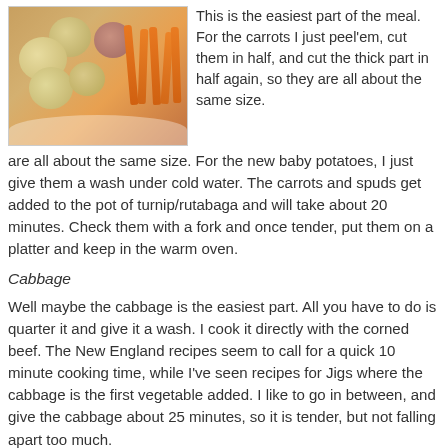[Figure (photo): A white plate with small baby potatoes (yellow and red) and orange carrot sticks garnished with herbs]
This is the easiest part of the meal. For the carrots I just peel'em, cut them in half, and cut the thick part in half again, so they are all about the same size. For the new baby potatoes, I just give them a wash under cold water. The carrots and spuds get added to the pot of turnip/rutabaga and will take about 20 minutes. Check them with a fork and once tender, put them on a platter and keep in the warm oven.
Cabbage
Well maybe the cabbage is the easiest part. All you have to do is quarter it and give it a wash. I cook it directly with the corned beef. The New England recipes seem to call for a quick 10 minute cooking time, while I've seen recipes for Jigs where the cabbage is the first vegetable added. I like to go in between, and give the cabbage about 25 minutes, so it is tender, but not falling apart too much.